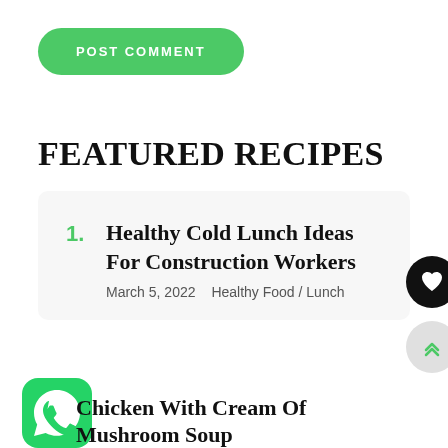[Figure (other): Green pill-shaped POST COMMENT button]
FEATURED RECIPES
1. Healthy Cold Lunch Ideas For Construction Workers
March 5, 2022  Healthy Food / Lunch
[Figure (other): Black circular heart/like button icon]
[Figure (other): Gray circular scroll-to-top button with double chevron arrows]
[Figure (other): WhatsApp icon — green rounded square with phone handset]
Chicken With Cream Of Mushroom Soup